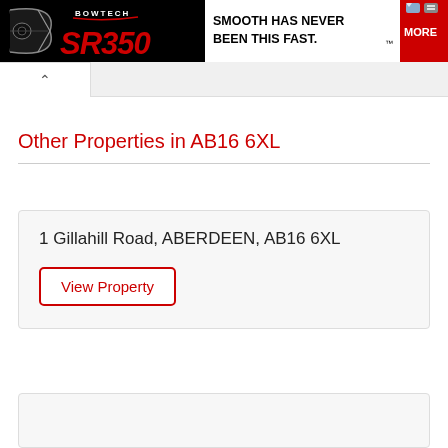[Figure (screenshot): Bowtech SR350 advertisement banner with black background showing a compound bow, SR350 logo in red italic, and tagline 'SMOOTH HAS NEVER BEEN THIS FAST.' with a red MORE button]
Other Properties in AB16 6XL
1 Gillahill Road, ABERDEEN, AB16 6XL
View Property